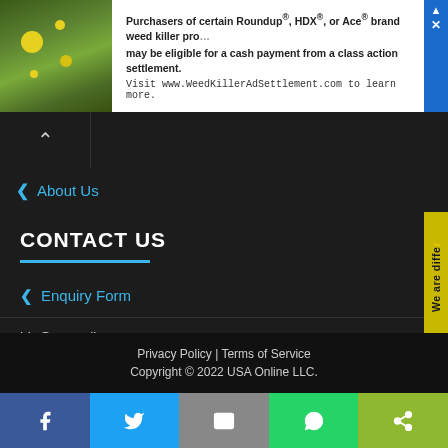[Figure (screenshot): Advertisement banner for WeedKillerAdSettlement.com with photo of yellow flowers on left and text on right about Roundup, HDX, or Ace brand weed killer class action settlement.]
About Us
CONTACT US
Enquiry Form
biz@usaonline.us
[Figure (infographic): Three social media icons: Facebook, Twitter, Instagram — white circles on dark background]
Privacy Policy | Terms of Service
Copyright © 2022 USA Online LLC.
[Figure (infographic): Bottom share bar with five buttons: Facebook (blue), Twitter (light blue), Email (gray), WhatsApp (green), Share (olive green)]